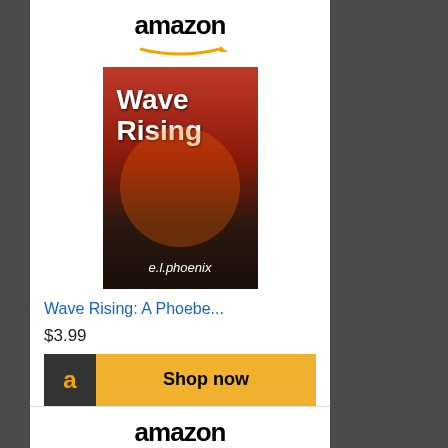[Figure (screenshot): Amazon advertisement for book 'Wave Rising: A Phoebe...' priced at $3.99 with Shop now button]
[Figure (screenshot): Amazon advertisement for book 'Strays Welcome: An Uplifting...' priced at $3.99]